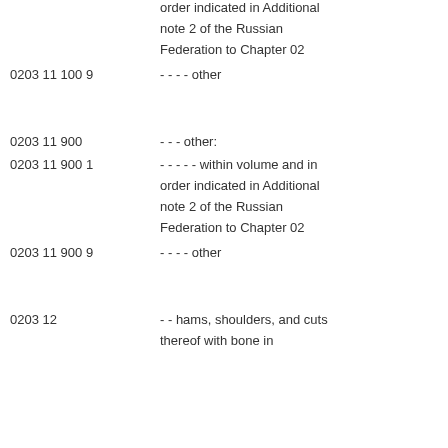| Code | Description | Value |
| --- | --- | --- |
|  | order indicated in Additional | th |
|  | note 2 of the Russian | pe |
|  | Federation to Chapter 02 |  |
| 0203 11 100 9 | - - - - other | 80 |
|  |  | th |
|  |  | pe |
| 0203 11 900 | - - - other: |  |
| 0203 11 900 1 | - - - - - within volume and in | 15 |
|  | order indicated in Additional | th |
|  | note 2 of the Russian | pe |
|  | Federation to Chapter 02 |  |
| 0203 11 900 9 | - - - - other | 80 |
|  |  | th |
|  |  | pe |
| 0203 12 | - - hams, shoulders, and cuts |  |
|  | thereof with bone in |  |